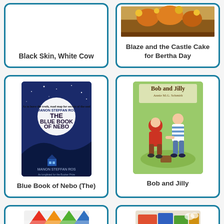[Figure (illustration): Book card for 'Black Skin, White Cow' with no visible cover image, showing only the title text]
Black Skin, White Cow
[Figure (illustration): Book card for 'Blaze and the Castle Cake for Bertha Day' with a partial book cover image showing autumn scene]
Blaze and the Castle Cake for Bertha Day
[Figure (illustration): Book card for 'Blue Book of Nebo (The)' showing a blue book cover with a moon and house, author Manon Steffan Ros]
Blue Book of Nebo (The)
[Figure (illustration): Book card for 'Bob and Jilly' showing two children playing, book by Annie M.G. Schmidt]
Bob and Jilly
[Figure (illustration): Partial book card at bottom left showing colorful geometric shapes book cover]
[Figure (illustration): Partial book card at bottom right showing books with colorful covers]